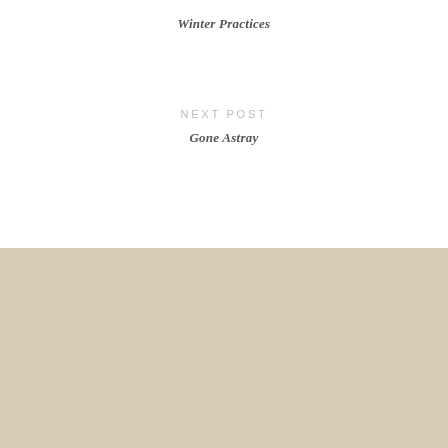Winter Practices
NEXT POST
Gone Astray
3 Comments
ADD YOURS